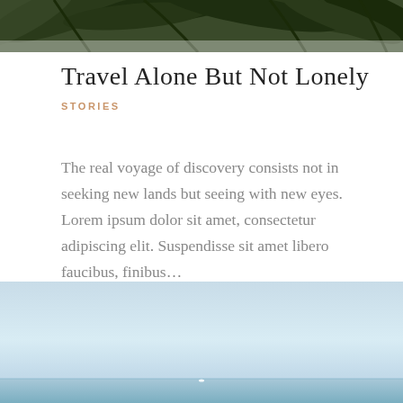[Figure (photo): Top portion of an image showing tropical palm leaves and foliage with dark green tones]
Travel Alone But Not Lonely
STORIES
The real voyage of discovery consists not in seeking new lands but seeing with new eyes. Lorem ipsum dolor sit amet, consectetur adipiscing elit. Suspendisse sit amet libero faucibus, finibus…
[Figure (photo): Ocean seascape photograph showing a calm blue sea with a light blue sky, a distant white boat visible on the horizon]